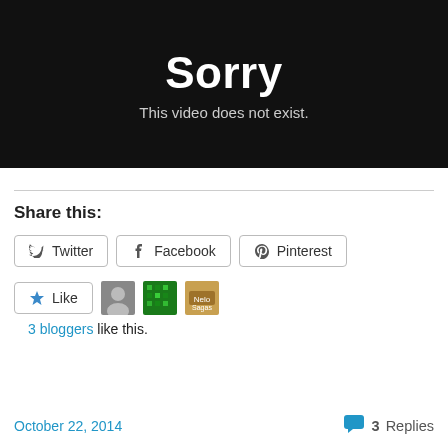[Figure (screenshot): Black video player error screen showing 'Sorry' in large white bold text and 'This video does not exist.' in gray text below]
Share this:
[Figure (screenshot): Social share buttons: Twitter, Facebook, Pinterest]
Like
3 bloggers like this.
October 22, 2014
3 Replies